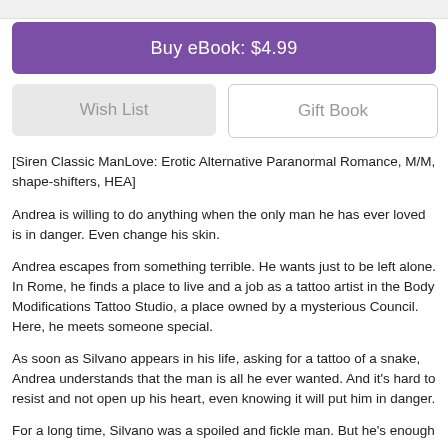Buy eBook: $4.99
Wish List
Gift Book
[Siren Classic ManLove: Erotic Alternative Paranormal Romance, M/M, shape-shifters, HEA]
Andrea is willing to do anything when the only man he has ever loved is in danger. Even change his skin.
Andrea escapes from something terrible. He wants just to be left alone. In Rome, he finds a place to live and a job as a tattoo artist in the Body Modifications Tattoo Studio, a place owned by a mysterious Council. Here, he meets someone special.
As soon as Silvano appears in his life, asking for a tattoo of a snake, Andrea understands that the man is all he ever wanted. And it’s hard to resist and not open up his heart, even knowing it will put him in danger.
For a long time, Silvano was a spoiled and fickle man. But he’s enough of a risk-taker to open his heart to love, even if it means he will